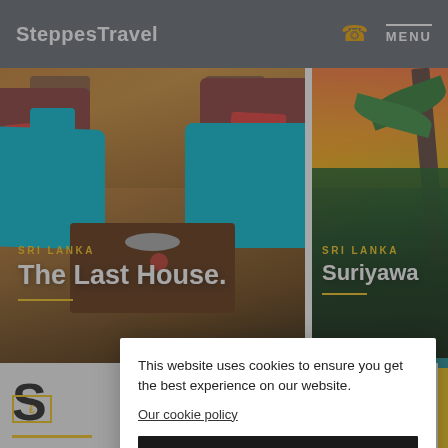SteppesTravel  MENU
[Figure (photo): Photo of a Sri Lanka hotel interior with colorful teal and red sofas, wooden coffee table, labeled 'The Last House.' with SRI LANKA tag and golden underline. Partially overlaid with colorful fabric at bottom.]
[Figure (photo): Partial photo of Sri Lanka resort with palm trees, sunset sky, and pool, labeled 'Suriyawa...' with SRI LANKA tag.]
This website uses cookies to ensure you get the best experience on our website.
Our cookie policy
I AGREE